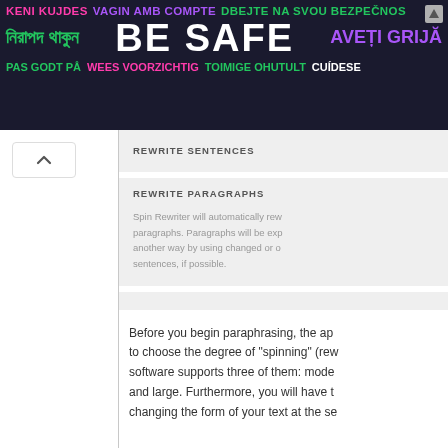[Figure (other): Multilingual 'BE SAFE' advertisement banner with colorful text in multiple languages on dark background]
REWRITE SENTENCES
REWRITE PARAGRAPHS
Spin Rewriter will automatically rewrite paragraphs. Paragraphs will be expressed another way by using changed or other sentences, if possible.
Before you begin paraphrasing, the app to choose the degree of "spinning" (rew software supports three of them: mode and large. Furthermore, you will have t changing the form of your text at the se